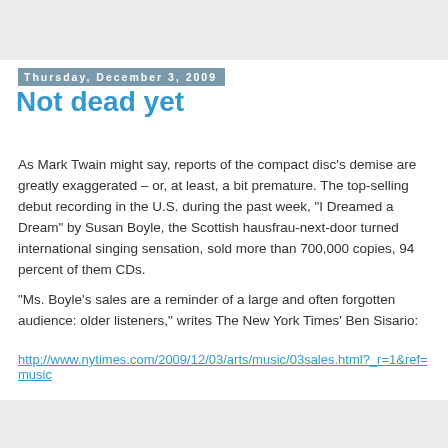Thursday, December 3, 2009
Not dead yet
As Mark Twain might say, reports of the compact disc's demise are greatly exaggerated – or, at least, a bit premature. The top-selling debut recording in the U.S. during the past week, "I Dreamed a Dream" by Susan Boyle, the Scottish hausfrau-next-door turned international singing sensation, sold more than 700,000 copies, 94 percent of them CDs.
"Ms. Boyle's sales are a reminder of a large and often forgotten audience: older listeners," writes The New York Times' Ben Sisario:
http://www.nytimes.com/2009/12/03/arts/music/03sales.html?_r=1&ref=music